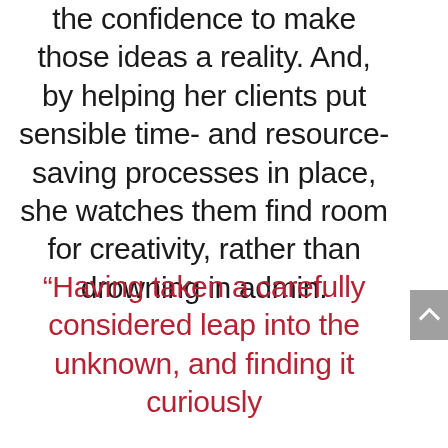the confidence to make those ideas a reality. And, by helping her clients put sensible time- and resource-saving processes in place, she watches them find room for creativity, rather than drowning in admin.
“Having taken a carefully considered leap into the unknown, and finding it curiously